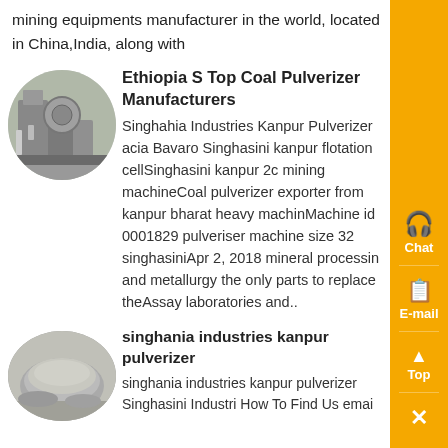mining equipments manufacturer in the world, located in China,India, along with
Ethiopia S Top Coal Pulverizer Manufacturers
Singhahia Industries Kanpur Pulverizer acia Bavaro Singhasini kanpur flotation cellSinghasini kanpur 2c mining machineCoal pulverizer exporter from kanpur bharat heavy machinMachine id 0001829 pulveriser machine size 32 singhasiniApr 2, 2018 mineral processing and metallurgy the only parts to replace theAssay laboratories and..
singhania industries kanpur pulverizer
singhania industries kanpur pulverizer Singhasini Industri How To Find Us emai